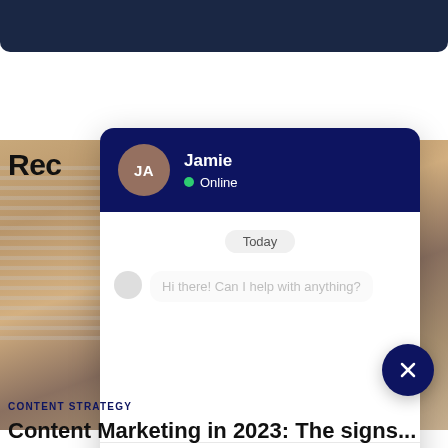[Figure (screenshot): Dark navy top banner representing a UI header]
[Figure (screenshot): Chat widget overlay showing Jamie's chat interface with avatar JA, Online status, Today label, a faded message 'Hi there! Can I help with anything?', a write a message input area, and a close (X) button]
Rec
CONTENT STRATEGY
Content Marketing in 2023: The signs...